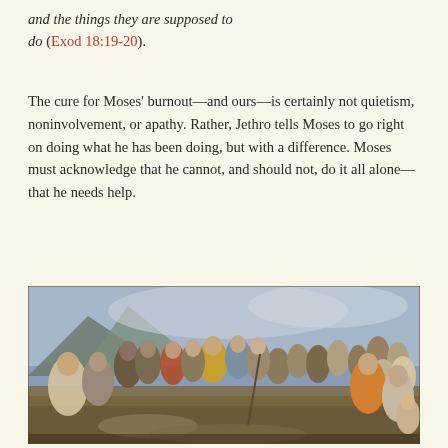and the things they are supposed to do (Exod 18:19-20).
The cure for Moses' burnout—and ours—is certainly not quietism, noninvolvement, or apathy. Rather, Jethro tells Moses to go right on doing what he has been doing, but with a difference. Moses must acknowledge that he cannot, and should not, do it all alone—that he needs help.
[Figure (illustration): A classical oil painting depicting a large group of biblical figures, likely Moses addressing a crowd in the wilderness. Multiple people in robes are gathered together in a dramatic outdoor scene with mountains and cloudy sky in the background.]